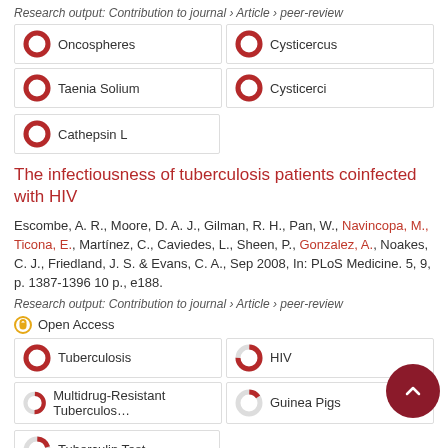Research output: Contribution to journal › Article › peer-review
[Figure (other): Keyword tags with donut charts: Oncospheres 100%, Cysticercus 100%, Taenia Solium 100%, Cysticerci 100%, Cathepsin L 100%]
The infectiousness of tuberculosis patients coinfected with HIV
Escombe, A. R., Moore, D. A. J., Gilman, R. H., Pan, W., Navincopa, M., Ticona, E., Martínez, C., Caviedes, L., Sheen, P., Gonzalez, A., Noakes, C. J., Friedland, J. S. & Evans, C. A., Sep 2008, In: PLoS Medicine. 5, 9, p. 1387-1396 10 p., e188.
Research output: Contribution to journal › Article › peer-review
Open Access
[Figure (other): Keyword tags with donut charts: Tuberculosis 100%, HIV 75%, Multidrug-Resistant Tuberculosis 50%, Guinea Pigs 15%, Tuberculin Test 20%]